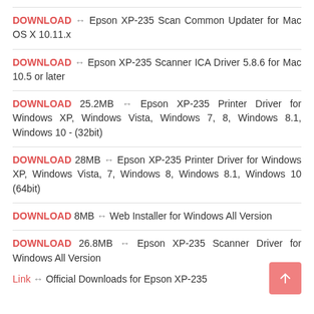DOWNLOAD ↔ Epson XP-235 Scan Common Updater for Mac OS X 10.11.x
DOWNLOAD ↔ Epson XP-235 Scanner ICA Driver 5.8.6 for Mac 10.5 or later
DOWNLOAD 25.2MB ↔ Epson XP-235 Printer Driver for Windows XP, Windows Vista, Windows 7, 8, Windows 8.1, Windows 10 - (32bit)
DOWNLOAD 28MB ↔ Epson XP-235 Printer Driver for Windows XP, Windows Vista, 7, Windows 8, Windows 8.1, Windows 10 (64bit)
DOWNLOAD 8MB ↔ Web Installer for Windows All Version
DOWNLOAD 26.8MB ↔ Epson XP-235 Scanner Driver for Windows All Version
Link ↔ Official Downloads for Epson XP-235